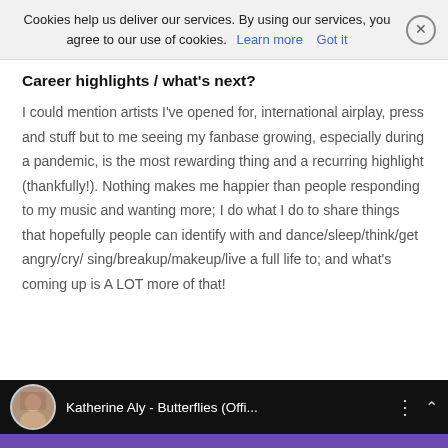Cookies help us deliver our services. By using our services, you agree to our use of cookies. Learn more  Got it
Career highlights / what's next?
I could mention artists I've opened for, international airplay, press and stuff but to me seeing my fanbase growing, especially during a pandemic, is the most rewarding thing and a recurring highlight (thankfully!). Nothing makes me happier than people responding to my music and wanting more; I do what I do to share things that hopefully people can identify with and dance/sleep/think/get angry/cry/ sing/breakup/makeup/live a full life to; and what's coming up is A LOT more of that!
[Figure (screenshot): YouTube video player bar showing 'Katherine Aly - Butterflies (Offi...' with a circular profile photo thumbnail, three-dot menu icon, and expand arrow on a dark background with purple strip at bottom]